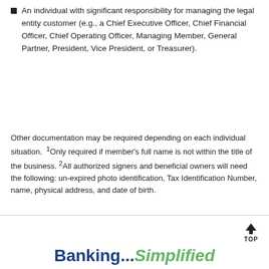An individual with significant responsibility for managing the legal entity customer (e.g., a Chief Executive Officer, Chief Financial Officer, Chief Operating Officer, Managing Member, General Partner, President, Vice President, or Treasurer).
Other documentation may be required depending on each individual situation.  ¹Only required if member's full name is not within the title of the business. ²All authorized signers and beneficial owners will need the following: un-expired photo identification, Tax Identification Number, name, physical address, and date of birth.
Banking... Simplified